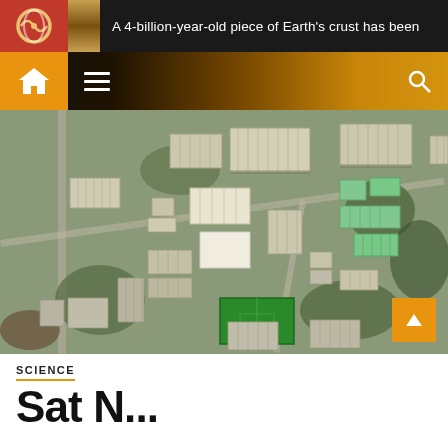A 4-billion-year-old piece of Earth's crust has been
[Figure (screenshot): Website navigation bar with home icon, hamburger menu, and search icon on dark-to-gold gradient background]
[Figure (photo): Aerial/satellite view of an industrial or agricultural facility showing multiple large rectangular greenhouse or warehouse structures arranged across an urban-suburban landscape with roads, green fields including a football pitch, and trees]
SCIENCE
Sat N...